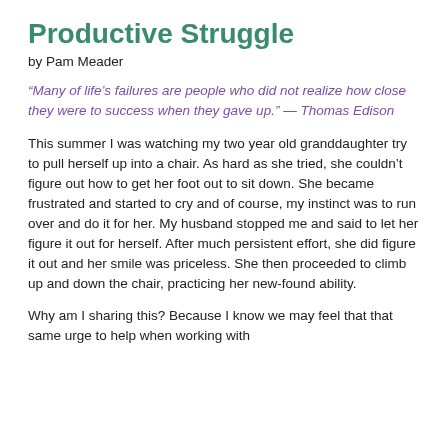Productive Struggle
by Pam Meader
“Many of life’s failures are people who did not realize how close they were to success when they gave up.” — Thomas Edison
This summer I was watching my two year old granddaughter try to pull herself up into a chair. As hard as she tried, she couldn’t figure out how to get her foot out to sit down. She became frustrated and started to cry and of course, my instinct was to run over and do it for her. My husband stopped me and said to let her figure it out for herself. After much persistent effort, she did figure it out and her smile was priceless. She then proceeded to climb up and down the chair, practicing her new-found ability.
Why am I sharing this? Because I know we may feel that that same urge to help when working with